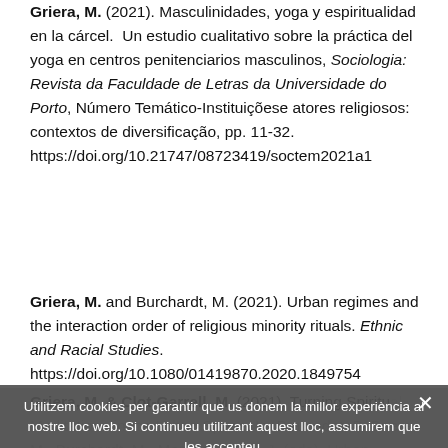Griera, M. (2021). Masculinidades, yoga y espiritualidad en la cárcel. Un estudio cualitativo sobre la práctica del yoga en centros penitenciarios masculinos, Sociologia: Revista da Faculdade de Letras da Universidade do Porto, Número Temático-Instituiçõese atores religiosos: contextos de diversificação, pp. 11-32. https://doi.org/10.21747/08723419/soctem2021a1
Griera, M. and Burchardt, M. (2021). Urban regimes and the interaction order of religious minority rituals. Ethnic and Racial Studies. https://doi.org/10.1080/01419870.2020.1849754
Griera, M. & Clot-Garrell, M. (2021). Turning Spiritual Meditations in the Urban Space. In Bramadat, P. Gnera, M., Burchardt, M., Martínez-Ariño, J. (eds). Urban Religious Events: Public Spirituality in Contested...
Utilitzem cookies per garantir que us donem la millor experiència al nostre lloc web. Si continueu utilitzant aquest lloc, assumirem que les accepteu.